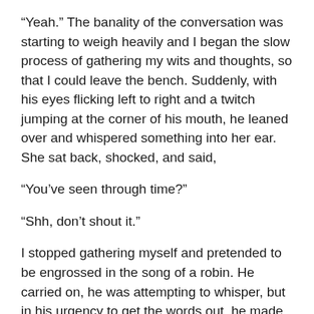“Yeah.” The banality of the conversation was starting to weigh heavily and I began the slow process of gathering my wits and thoughts, so that I could leave the bench. Suddenly, with his eyes flicking left to right and a twitch jumping at the corner of his mouth, he leaned over and whispered something into her ear. She sat back, shocked, and said,
“You’ve seen through time?”
“Shh, don’t shout it.”
I stopped gathering myself and pretended to be engrossed in the song of a robin. He carried on, he was attempting to whisper, but in his urgency to get the words out, he made them loud.
“I don’t know how it happened, I mean I took some acid, but not enough, you know? It definitely wasn’t that. This